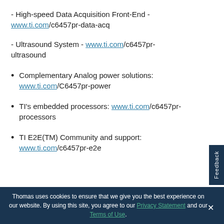- High-speed Data Acquisition Front-End - www.ti.com/c6457pr-data-acq
- Ultrasound System - www.ti.com/c6457pr-ultrasound
Complementary Analog power solutions: www.ti.com/C6457pr-power
TI's embedded processors: www.ti.com/c6457pr-processors
TI E2E(TM) Community and support: www.ti.com/c6457pr-e2e
Thomas uses cookies to ensure that we give you the best experience on our website. By using this site, you agree to our Privacy Statement and our Terms of Use.